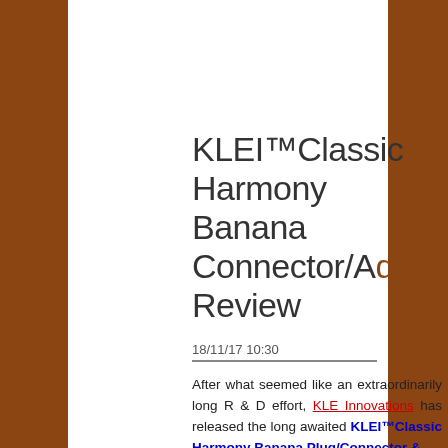KLEI™Classic Harmony Banana Connector/Adapter Review
18/11/17 10:30
After what seemed like an extraordinarily long R & D effort, KLE Innovations has released the long awaited KLEI™Classic Harmony Banana Plug/Connector &